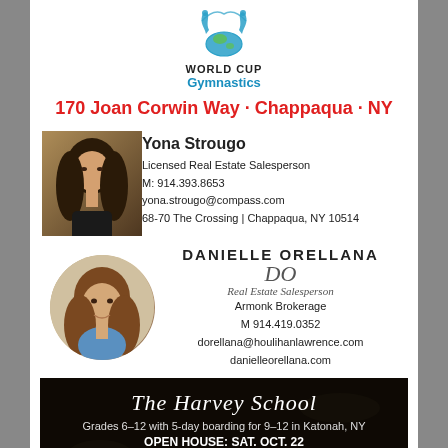[Figure (logo): World Cup Gymnastics logo with globe and gymnast silhouettes]
WORLD CUP
Gymnastics
170 Joan Corwin Way · Chappaqua · NY
[Figure (photo): Photo of Yona Strougo, a woman with long dark hair]
Yona Strougo
Licensed Real Estate Salesperson
M: 914.393.8653
yona.strougo@compass.com
68-70 The Crossing | Chappaqua, NY 10514
[Figure (photo): Circular photo of Danielle Orellana, a woman with dark hair]
DANIELLE ORELLANA
Real Estate Salesperson
Armonk Brokerage
M 914.419.0352
dorellana@houlihanlawrence.com
danielleorellana.com
[Figure (photo): The Harvey School banner image with dark background and hands]
The Harvey School
Grades 6–12 with 5-day boarding for 9–12 in Katonah, NY
OPEN HOUSE: SAT. OCT. 22
www.harveyschool.org